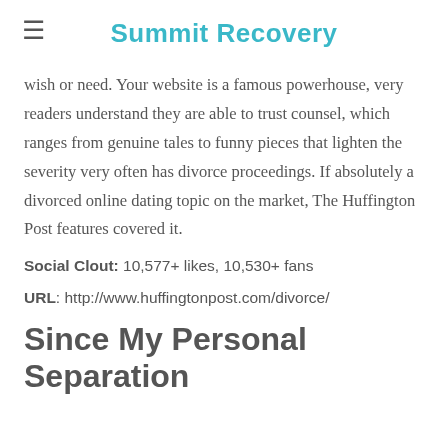Summit Recovery
wish or need. Your website is a famous powerhouse, very readers understand they are able to trust counsel, which ranges from genuine tales to funny pieces that lighten the severity very often has divorce proceedings. If absolutely a divorced online dating topic on the market, The Huffington Post features covered it.
Social Clout: 10,577+ likes, 10,530+ fans
URL: http://www.huffingtonpost.com/divorce/
Since My Personal Separation